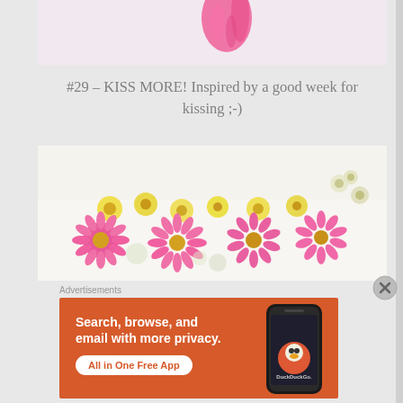[Figure (photo): Partial photo showing a pink painted or drawn shape on a light background, cropped at the top]
#29 – KISS MORE! Inspired by a good week for kissing ;-)
[Figure (photo): Flat lay photo of pink and yellow daisy flowers arranged on a white background]
Advertisements
[Figure (screenshot): DuckDuckGo advertisement banner with orange background. Text reads: Search, browse, and email with more privacy. All in One Free App. Shows a smartphone with DuckDuckGo logo.]